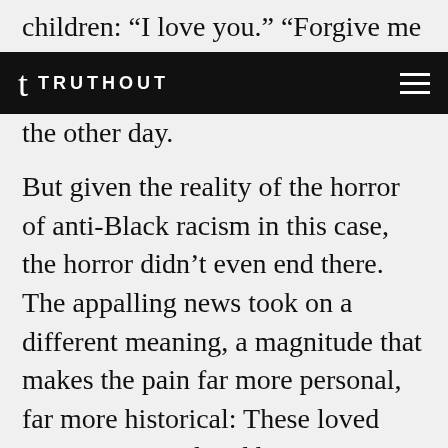children: “I love you.” “Forgive me for being
TRUTHOUT
the other day.
But given the reality of the horror of anti-Black racism in this case, the horror didn’t even end there. The appalling news took on a different meaning, a magnitude that makes the pain far more personal, far more historical: These loved ones were murdered by an 18-year-old male white supremacist, cold and calculating, intentional, willful, remorseless, hatred-filled. This is the stuff of real nightmares, the